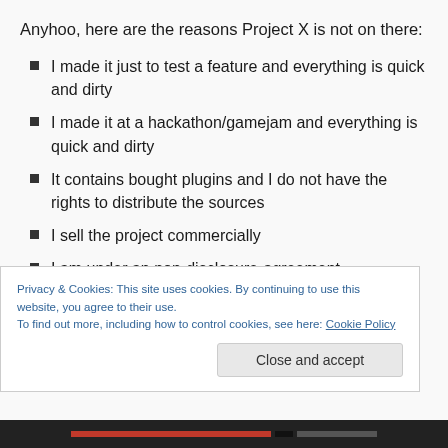Anyhoo, here are the reasons Project X is not on there:
I made it just to test a feature and everything is quick and dirty
I made it at a hackathon/gamejam and everything is quick and dirty
It contains bought plugins and I do not have the rights to distribute the sources
I sell the project commercially
I am under an non-disclosure-agreement
It contains copyrighted placeholder-files
Privacy & Cookies: This site uses cookies. By continuing to use this website, you agree to their use.
To find out more, including how to control cookies, see here: Cookie Policy